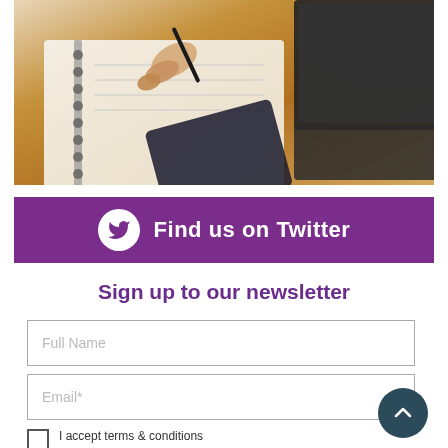[Figure (photo): Person writing in a notebook with a pen, with a laptop and tablet visible on a wooden desk in the background.]
Find us on Twitter
Sign up to our newsletter
Full Name
Email*
I accept terms & conditions
View Privacy Policy